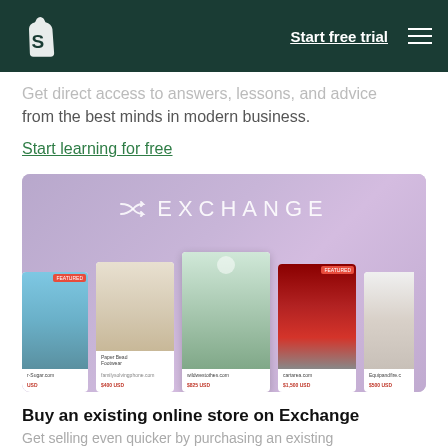Start free trial
Get direct access to answers, lessons, and advice from the best minds in modern business.
Start learning for free
[Figure (screenshot): Shopify Exchange marketplace screenshot showing the Exchange logo and a row of store listing cards with prices such as $400 USD, $825 USD, $1,500 USD]
Buy an existing online store on Exchange
Get selling even quicker by purchasing an existing